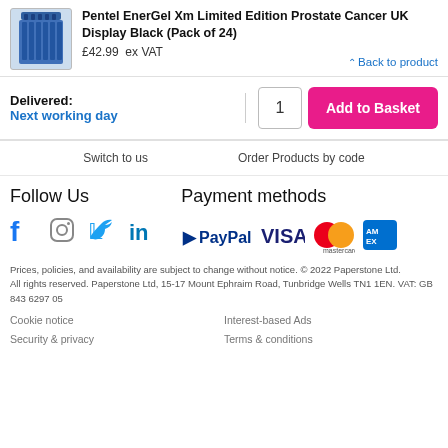Pentel EnerGel Xm Limited Edition Prostate Cancer UK Display Black (Pack of 24)
£42.99  ex VAT
^ Back to product
Delivered:
Next working day
1  Add to Basket
Switch to us
Order Products by code
Follow Us
Payment methods
[Figure (logo): Social media icons: Facebook, Instagram, Twitter, LinkedIn]
[Figure (logo): Payment method logos: PayPal, VISA, Mastercard, American Express]
Prices, policies, and availability are subject to change without notice. © 2022 Paperstone Ltd.
All rights reserved. Paperstone Ltd, 15-17 Mount Ephraim Road, Tunbridge Wells TN1 1EN. VAT: GB 843 6297 05
Cookie notice
Security & privacy
Interest-based Ads
Terms & conditions